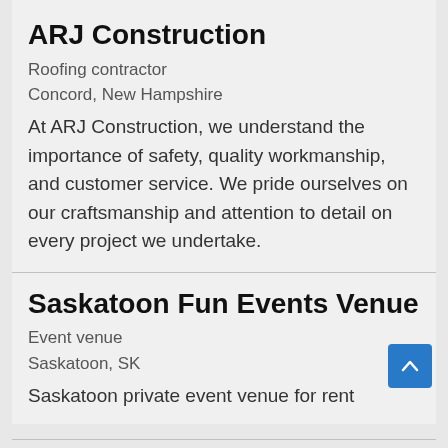ARJ Construction
Roofing contractor
Concord, New Hampshire
At ARJ Construction, we understand the importance of safety, quality workmanship, and customer service. We pride ourselves on our craftsmanship and attention to detail on every project we undertake.
Saskatoon Fun Events Venue
Event venue
Saskatoon, SK
Saskatoon private event venue for rent